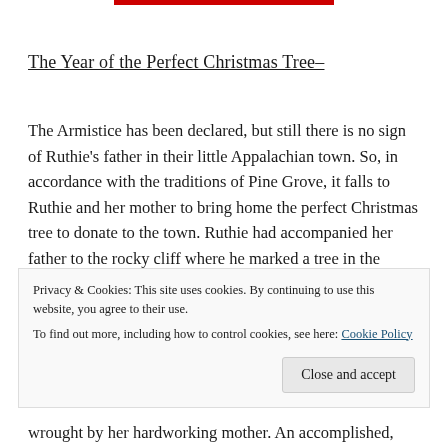The Year of the Perfect Christmas Tree–
The Armistice has been declared, but still there is no sign of Ruthie's father in their little Appalachian town. So, in accordance with the traditions of Pine Grove, it falls to Ruthie and her mother to bring home the perfect Christmas tree to donate to the town. Ruthie had accompanied her father to the rocky cliff where he marked a tree in the spring, so she and her mother set
Privacy & Cookies: This site uses cookies. By continuing to use this website, you agree to their use.
To find out more, including how to control cookies, see here: Cookie Policy
Close and accept
wrought by her hardworking mother. An accomplished,